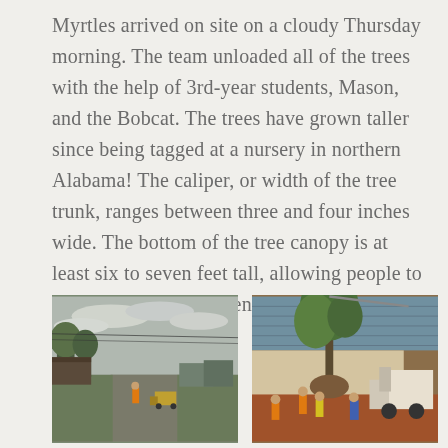Myrtles arrived on site on a cloudy Thursday morning. The team unloaded all of the trees with the help of 3rd-year students, Mason, and the Bobcat. The trees have grown taller since being tagged at a nursery in northern Alabama! The caliper, or width of the tree trunk, ranges between three and four inches wide. The bottom of the tree canopy is at least six to seven feet tall, allowing people to comfortably wander beneath the canopy.
[Figure (photo): Cloudy outdoor scene showing a road at a nursery with a person in orange and a vehicle in the background, trees visible on either side]
[Figure (photo): Workers in orange vests unloading large trees using machinery (Bobcat) near a building with red clay soil visible]